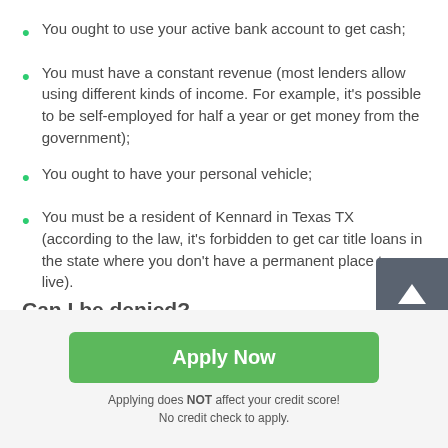You ought to use your active bank account to get cash;
You must have a constant revenue (most lenders allow using different kinds of income. For example, it's possible to be self-employed for half a year or get money from the government);
You ought to have your personal vehicle;
You must be a resident of Kennard in Texas TX (according to the law, it's forbidden to get car title loans in the state where you don't have a permanent place to live).
Apply Now
Applying does NOT affect your credit score!
No credit check to apply.